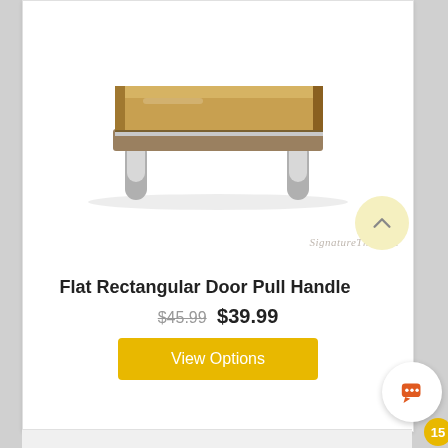[Figure (photo): A flat rectangular door pull handle in polished chrome/brushed steel finish, shown from a front-angle perspective. The handle is a wide flat rectangular bar supported by two cylindrical posts. A 'SignatureThings' watermark appears in the lower right of the image.]
Flat Rectangular Door Pull Handle
$45.99  $39.99
View Options
15